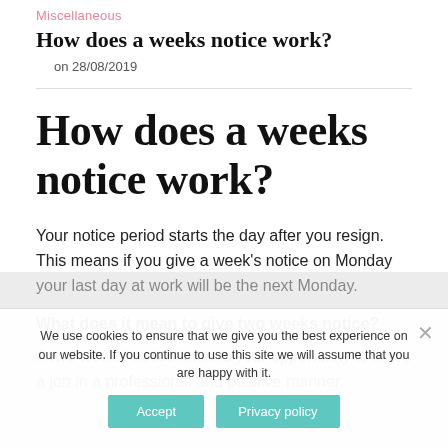Miscellaneous
How does a weeks notice work?
on 28/08/2019
How does a weeks notice work?
Your notice period starts the day after you resign. This means if you give a week’s notice on Monday your last day at work will be the next Monday.
What does it mean to give two weeks notice?
A two weeks’ notice letter is your opportunity to leave a job in a professional and positive manner.
We use cookies to ensure that we give you the best experience on our website. If you continue to use this site we will assume that you are happy with it.